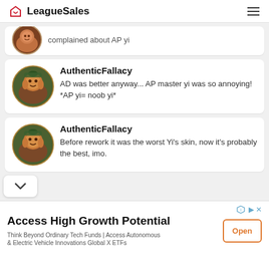LeagueSales
complained about AP yi
AuthenticFallacy
AD was better anyway... AP master yi was so annoying! *AP yi= noob yi*
AuthenticFallacy
Before rework it was the worst Yi's skin, now it's probably the best, imo.
Access High Growth Potential
Think Beyond Ordinary Tech Funds | Access Autonomous & Electric Vehicle Innovations Global X ETFs
Open